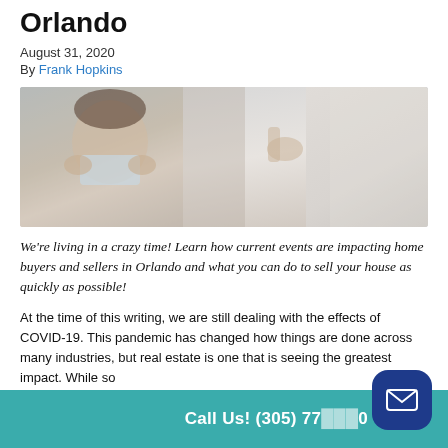Orlando
August 31, 2020
By Frank Hopkins
[Figure (photo): A person looking in a mirror while putting on a face mask, with hands visible in mirror reflection]
We're living in a crazy time! Learn how current events are impacting home buyers and sellers in Orlando and what you can do to sell your house as quickly as possible!
At the time of this writing, we are still dealing with the effects of COVID-19. This pandemic has changed how things are done across many industries, but real estate is one that is seeing the greatest impact. While so
Call Us! (305) 77[...]0